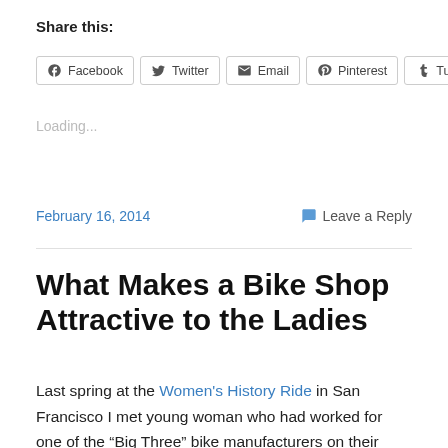Share this:
[Figure (screenshot): Social sharing buttons: Facebook, Twitter, Email, Pinterest, Tumblr]
Loading...
February 16, 2014    Leave a Reply
What Makes a Bike Shop Attractive to the Ladies
Last spring at the Women's History Ride in San Francisco I met young woman who had worked for one of the “Big Three” bike manufacturers on their successful women’s product line. On the long train ride down the Peninsula, we